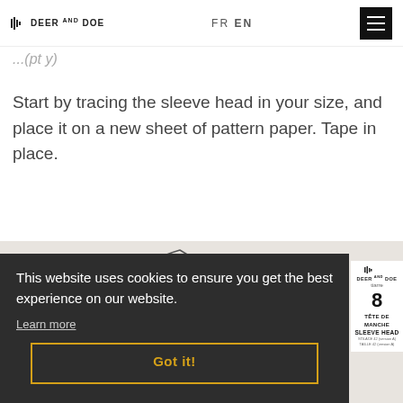DEER AND DOE  FR EN
Start by tracing the sleeve head in your size, and place it on a new sheet of pattern paper. Tape in place.
[Figure (illustration): Sewing pattern piece showing sleeve head with markings and a 2 cm measurement line]
This website uses cookies to ensure you get the best experience on our website. Learn more
Got it!